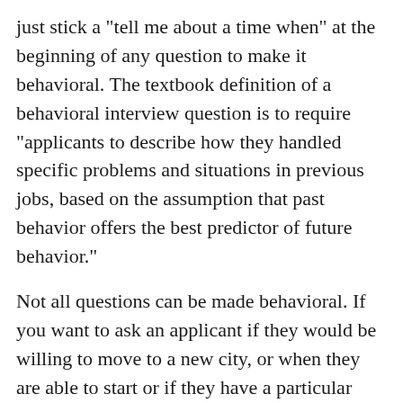just stick a "tell me about a time when" at the beginning of any question to make it behavioral. The textbook definition of a behavioral interview question is to require "applicants to describe how they handled specific problems and situations in previous jobs, based on the assumption that past behavior offers the best predictor of future behavior."
Not all questions can be made behavioral. If you want to ask an applicant if they would be willing to move to a new city, or when they are able to start or if they have a particular certification, you should just ask those directly. But to the extent possible I encourage you to try and make many questions behavioral.
Edit: here is a list of behavioral questions that I put together, adapted from the US Department of Veteran's